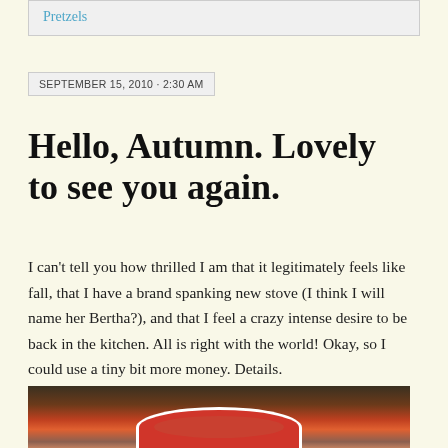Pretzels
SEPTEMBER 15, 2010 · 2:30 AM
Hello, Autumn. Lovely to see you again.
I can't tell you how thrilled I am that it legitimately feels like fall, that I have a brand spanking new stove (I think I will name her Bertha?), and that I feel a crazy intense desire to be back in the kitchen. All is right with the world! Okay, so I could use a tiny bit more money. Details.
[Figure (photo): Photo of a bowl of tomato soup with food items nearby on a dark surface]